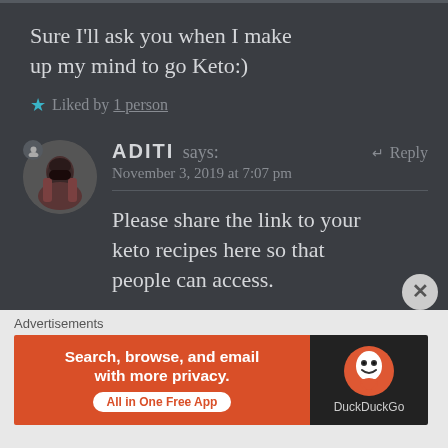Sure I'll ask you when I make up my mind to go Keto:)
★ Liked by 1 person
ADITI says:   ↵ Reply
November 3, 2019 at 7:07 pm
Please share the link to your keto recipes here so that people can access.
★ Like
[Figure (screenshot): DuckDuckGo advertisement banner: orange section with text 'Search, browse, and email with more privacy. All in One Free App' and dark section with DuckDuckGo duck logo and label 'DuckDuckGo']
Advertisements